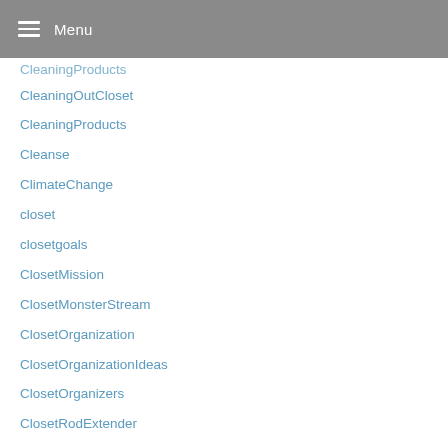Menu
CleaningProducts
CleaningOutCloset
CleaningProducts
Cleanse
ClimateChange
closet
closetgoals
ClosetMission
ClosetMonsterStream
ClosetOrganization
ClosetOrganizationIdeas
ClosetOrganizers
ClosetRodExtender
ClosetRodExtenderHanging
ClosetRodExtenderTarget
ClosetRodExtenderWalmart
ClosetSpaceSaversHangers